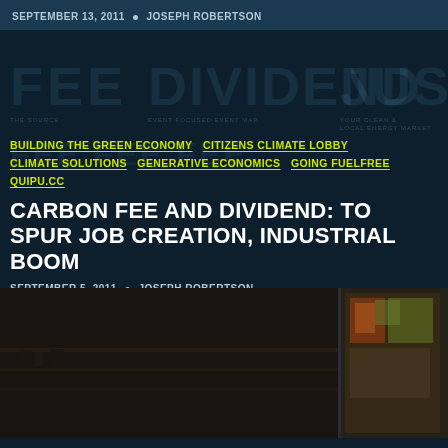SEPTEMBER 13, 2011 • JOSEPH ROBERTSON
[Figure (photo): Dark teal background with large watermark text showing FEE, DIVIDEND, JUSTICE in large faded letters with smaller subtext rows below each]
BUILDING THE GREEN ECONOMY CITIZENS CLIMATE LOBBY
CLIMATE SOLUTIONS GENERATIVE ECONOMICS GOING FUELFREE
QUIPU.CC
CARBON FEE AND DIVIDEND: TO SPUR JOB CREATION, INDUSTRIAL BOOM
SEPTEMBER 5, 2011 • JOSEPH ROBERTSON
[Figure (photo): Photo strip at bottom showing dark interior scene, partially visible bookshelf or cabinet on left, and a colorful painting or artwork visible on the right side]